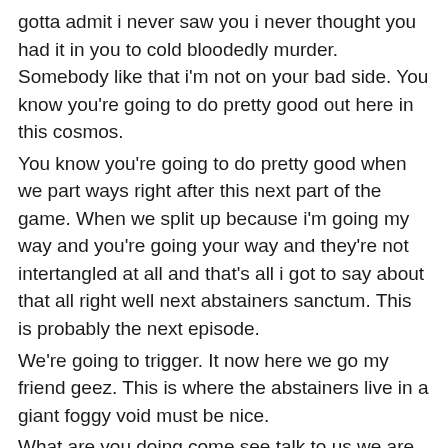gotta admit i never saw you i never thought you had it in you to cold bloodedly murder. Somebody like that i'm not on your bad side. You know you're going to do pretty good out here in this cosmos.
You know you're going to do pretty good when we part ways right after this next part of the game. When we split up because i'm going my way and you're going your way and they're not intertangled at all and that's all i got to say about that all right well next abstainers sanctum. This is probably the next episode.
We're going to trigger. It now here we go my friend geez. This is where the abstainers live in a giant foggy void must be nice.
What are you doing come see talk to us we are the abstainers request your presence all right we'll go we'll go see him next episode. Thank you for watching guys has been very fun. I love the characters of course.
...